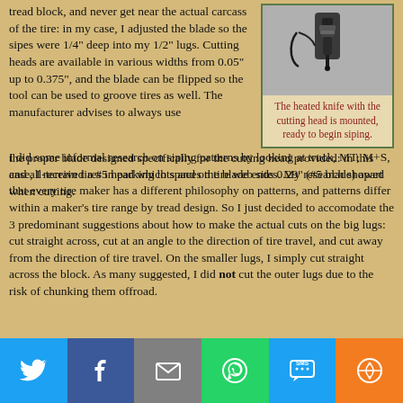tread block, and never get near the actual carcass of the tire: in my case, I adjusted the blade so the sipes were 1/4" deep into my 1/2" lugs. Cutting heads are available in various widths from 0.05" up to 0.375", and the blade can be flipped so the tool can be used to groove tires as well. The manufacturer advises to always use the proper blade designed specifically for the cutting head provided: in this case, I received a #5 head which spaces the blade ends 0.29" (#5 blade) apart when cutting.
[Figure (photo): A heated knife tool with a cutting head mounted, ready for siping tires.]
The heated knife with the cutting head is mounted, ready to begin siping.
I did some informal research on siping patterns by looking at truck, MT, M+S, and all-terrain tires in parking lots and on tire web sites. My research showed that every tire maker has a different philosophy on patterns, and patterns differ within a maker's tire range by tread design. So I just decided to accomodate the 3 predominant suggestions about how to make the actual cuts on the big lugs: cut straight across, cut at an angle to the direction of tire travel, and cut away from the direction of tire travel. On the smaller lugs, I simply cut straight across the block. As many suggested, I did not cut the outer lugs due to the risk of chunking them offroad.